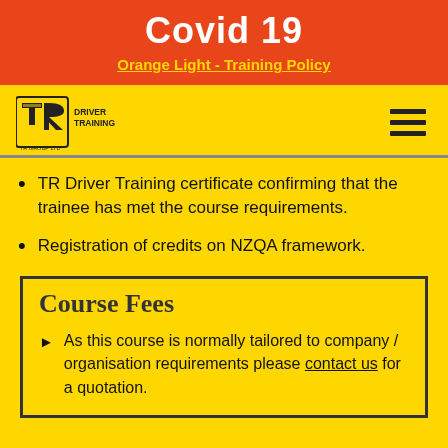Covid 19
Orange Light - Training Policy
[Figure (logo): TR Driver Training logo — TR letters in yellow with black outline, text 'DRIVER TRAINING' and 'TR GROUP LTD' in black]
TR Driver Training certificate confirming that the trainee has met the course requirements.
Registration of credits on NZQA framework.
Course Fees
As this course is normally tailored to company / organisation requirements please contact us for a quotation.